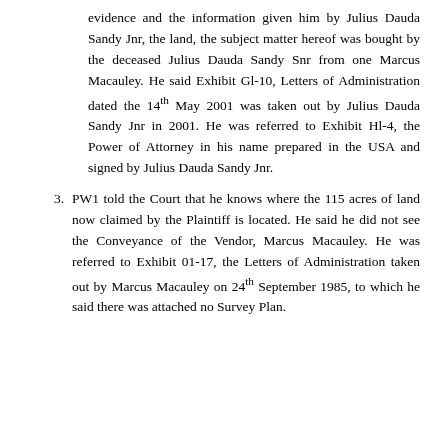evidence and the information given him by Julius Dauda Sandy Jnr, the land, the subject matter hereof was bought by the deceased Julius Dauda Sandy Snr from one Marcus Macauley. He said Exhibit Gl-10, Letters of Administration dated the 14th May 2001 was taken out by Julius Dauda Sandy Jnr in 2001. He was referred to Exhibit Hl-4, the Power of Attorney in his name prepared in the USA and signed by Julius Dauda Sandy Jnr.
3. PW1 told the Court that he knows where the 115 acres of land now claimed by the Plaintiff is located. He said he did not see the Conveyance of the Vendor, Marcus Macauley. He was referred to Exhibit 01-17, the Letters of Administration taken out by Marcus Macauley on 24th September 1985, to which he said there was attached no Survey Plan.